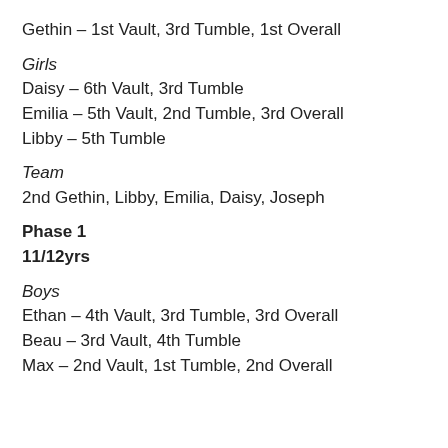Gethin – 1st Vault, 3rd Tumble, 1st Overall
Girls
Daisy – 6th Vault, 3rd Tumble
Emilia – 5th Vault, 2nd Tumble, 3rd Overall
Libby – 5th Tumble
Team
2nd Gethin, Libby, Emilia, Daisy, Joseph
Phase 1
11/12yrs
Boys
Ethan – 4th Vault, 3rd Tumble, 3rd Overall
Beau – 3rd Vault, 4th Tumble
Max – 2nd Vault, 1st Tumble, 2nd Overall